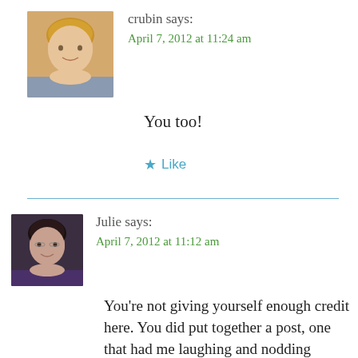[Figure (photo): Profile photo of crubin, a woman with blonde hair]
crubin says:
April 7, 2012 at 11:24 am
You too!
★ Like
[Figure (photo): Profile photo of Julie, a woman with dark hair and glasses]
Julie says:
April 7, 2012 at 11:12 am
You're not giving yourself enough credit here. You did put together a post, one that had me laughing and nodding along. Believe me, I know what it's like to have something suddenly be out of the expected order, or not in